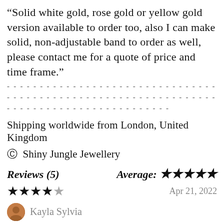“Solid white gold, rose gold or yellow gold version available to order too, also I can make solid, non-adjustable band to order as well, please contact me for a quote of price and time frame.”
- - - - - - - - - - - - - - - - - - - - - - - - - - - - - - - - - - - - - - - - - - - - - - - - - - - - - - - - - - - - - - - - - - - - - - - - - - - -
Shipping worldwide from London, United Kingdom
© Shiny Jungle Jewellery
Reviews (5)   Average: ★★★★★
★★★★☆   Apr 21, 2022
Kayla Sylvia